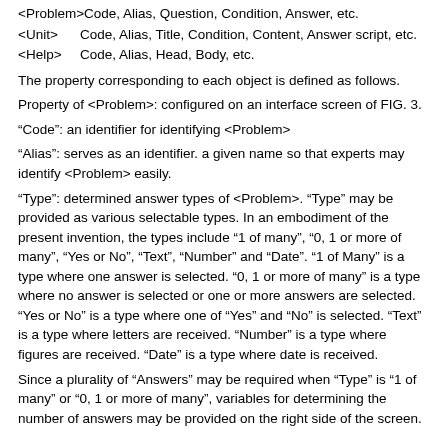<Problem>  Code, Alias, Question, Condition, Answer, etc.
<Unit>      Code, Alias, Title, Condition, Content, Answer script, etc.
<Help>      Code, Alias, Head, Body, etc.
The property corresponding to each object is defined as follows.
Property of <Problem>: configured on an interface screen of FIG. 3.
“Code”: an identifier for identifying <Problem>
“Alias”: serves as an identifier. a given name so that experts may identify <Problem> easily.
“Type”: determined answer types of <Problem>. “Type” may be provided as various selectable types. In an embodiment of the present invention, the types include “1 of many”, “0, 1 or more of many”, “Yes or No”, “Text”, “Number” and “Date”. “1 of Many” is a type where one answer is selected. “0, 1 or more of many” is a type where no answer is selected or one or more answers are selected. “Yes or No” is a type where one of “Yes” and “No” is selected. “Text” is a type where letters are received. “Number” is a type where figures are received. “Date” is a type where date is received.
Since a plurality of “Answers” may be required when “Type” is “1 of many” or “0, 1 or more of many”, variables for determining the number of answers may be provided on the right side of the screen.